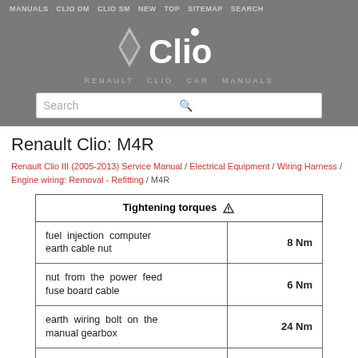MANUALS  CLIO DM  CLIO SM  NEW  TOP  SITEMAP  SEARCH
[Figure (logo): Renault Clio car manuals logo — diamond Renault symbol with 'Clio' text and subtitle 'RENAULT CLIO CAR MANUALS']
Renault Clio: M4R
Renault Clio III (2005-2013) Service Manual / Electrical Equipment / Wiring Harness / Engine wiring: Removal - Refitting / M4R
| Tightening torques ▽ |  |
| --- | --- |
| fuel injection computer earth cable nut | 8 Nm |
| nut from the power feed fuse board cable | 6 Nm |
| earth wiring bolt on the manual gearbox | 24 Nm |
| earth wiring bolt on the automatic transmission | 44 Nm |
| (partial row cut off) | ? Nm |